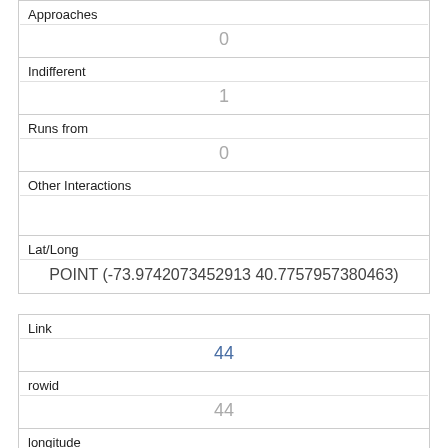| Approaches | 0 |
| Indifferent | 1 |
| Runs from | 0 |
| Other Interactions |  |
| Lat/Long | POINT (-73.9742073452913 40.7757957380463) |
| Link | 44 |
| rowid | 44 |
| longitude | -73.970252675331 |
| latitude | 40.7705999588222 |
| Unique Squirrel ID | 8H-AM-1017-06 |